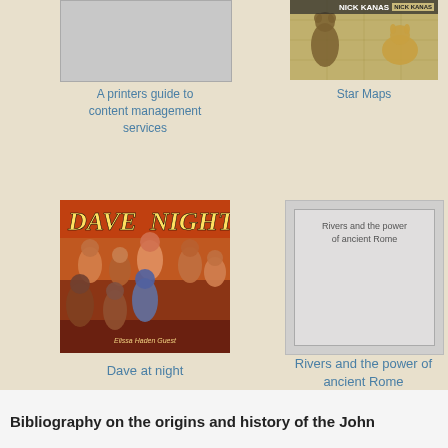[Figure (illustration): Book cover placeholder - A printers guide to content management services (gray rectangle)]
A printers guide to content management services
[Figure (illustration): Book cover - Star Maps by Nick Kanas, showing a map with animal figures]
Star Maps
[Figure (illustration): Book cover - Dave at Night, showing a colorful crowd scene with the title in bold italic text]
Dave at night
[Figure (illustration): Book cover placeholder - Rivers and the power of ancient Rome (gray rectangle with text label)]
Rivers and the power of ancient Rome
Bibliography on the origins and history of the John